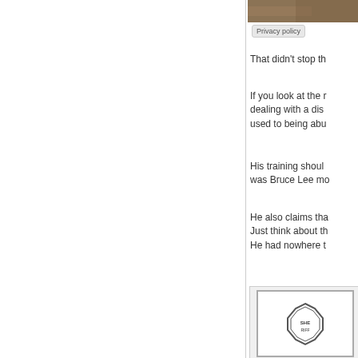[Figure (photo): Partial photo strip at top right, brown/tan tones suggesting an animal or outdoor scene]
Privacy policy
That didn't stop th
If you look at the r
dealing with a dis
used to being abu
His training shoul
was Bruce Lee mo
He also claims tha
Just think about th
He had nowhere t
[Figure (screenshot): Document image showing a sheriff badge, a grey bar, and a report beginning with 'On 02-05- Sprague A to leave th departme']